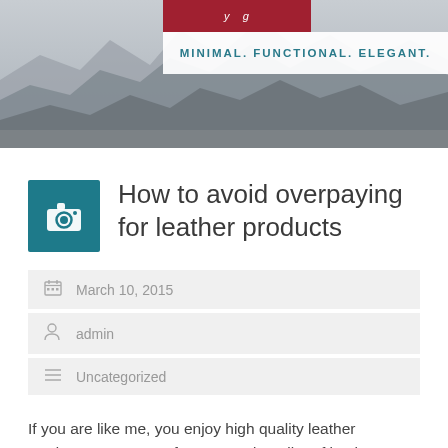[Figure (photo): Mountain landscape header photo with red branding box and white tagline box reading MINIMAL. FUNCTIONAL. ELEGANT.]
How to avoid overpaying for leather products
March 10, 2015
admin
Uncategorized
If you are like me, you enjoy high quality leather products.  As a manufacturer and retailer of leather products, I seek out high